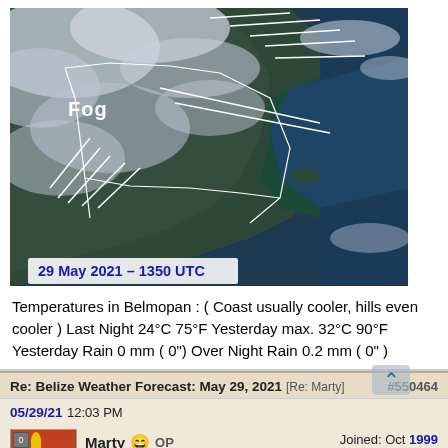[Figure (photo): Satellite image of Belize coastline showing fog over inland area with white annotation lines, dated 29 May 2021 - 1350 UTC]
Temperatures in Belmopan : ( Coast usually cooler, hills even cooler ) Last Night 24°C 75°F Yesterday max. 32°C 90°F Yesterday Rain 0 mm ( 0") Over Night Rain 0.2 mm ( 0" )
Re: Belize Weather Forecast: May 29, 2021 [Re: Marty] #550464
05/29/21 12:03 PM
Marty 😄 OP    Joined: Oct 1999   Posts: 81,387   oregon, spr